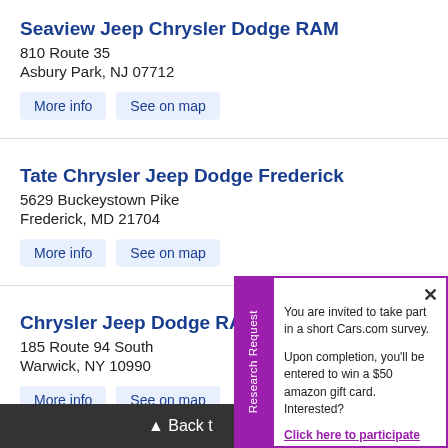Seaview Jeep Chrysler Dodge RAM
810 Route 35
Asbury Park, NJ 07712
More info | See on map
Tate Chrysler Jeep Dodge Frederick
5629 Buckeystown Pike
Frederick, MD 21704
More info | See on map
Chrysler Jeep Dodge RAM
185 Route 94 South
Warwick, NY 10990
More info | See on map
DARCARS Chrysler Dodge J
12511 Prosperity Dr
Silver Spring, MD 20904
[Figure (screenshot): Survey popup with purple border and sidebar tab reading 'Research Request'. Popup text: 'You are invited to take part in a short Cars.com survey. Upon completion, you'll be entered to win a $50 amazon gift card. Interested?' with link 'Click here to participate'.]
▲ Back t